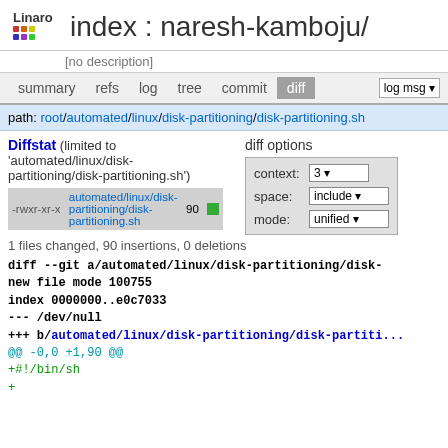index : naresh-kamboju/
[no description]
summary  refs  log  tree  commit  diff
path: root/automated/linux/disk-partitioning/disk-partitioning.sh
Diffstat (limited to 'automated/linux/disk-partitioning/disk-partitioning.sh')
|  | file | lines | bar |
| --- | --- | --- | --- |
| -rwxr-xr-x | automated/linux/disk-partitioning/disk-partitioning.sh | 90 |  |
diff options
context: 3
space: include
mode: unified
1 files changed, 90 insertions, 0 deletions
diff --git a/automated/linux/disk-partitioning/disk-
new file mode 100755
index 0000000..e0c7033
--- /dev/null
+++ b/automated/linux/disk-partitioning/disk-partiti...
@@ -0,0 +1,90 @@
+#!/bin/sh
+